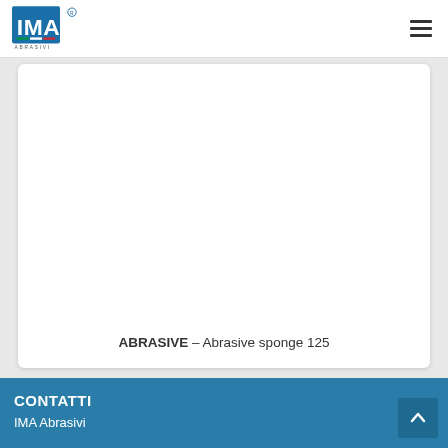IMA Abrasivi logo and navigation
[Figure (photo): White product card area (empty/blank white box representing the product image area for Abrasive sponge 125)]
ABRASIVE – Abrasive sponge 125
CONTATTI
IMA Abrasivi